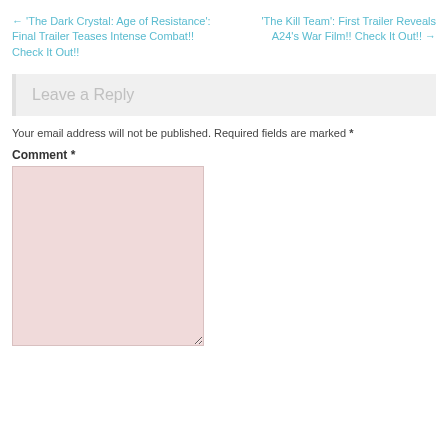← 'The Dark Crystal: Age of Resistance': Final Trailer Teases Intense Combat!! Check It Out!!
'The Kill Team': First Trailer Reveals A24's War Film!! Check It Out!! →
Leave a Reply
Your email address will not be published. Required fields are marked *
Comment *